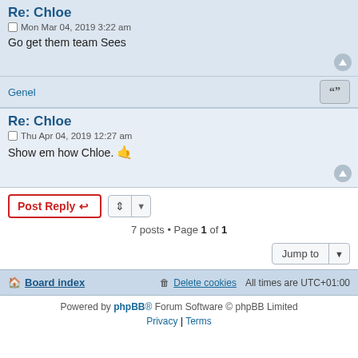Re: Chloe
Mon Mar 04, 2019 3:22 am
Go get them team Sees
Genel
Re: Chloe
Thu Apr 04, 2019 12:27 am
Show em how Chloe. 🤙
7 posts • Page 1 of 1
Board index
Delete cookies  All times are UTC+01:00
Powered by phpBB® Forum Software © phpBB Limited
Privacy | Terms